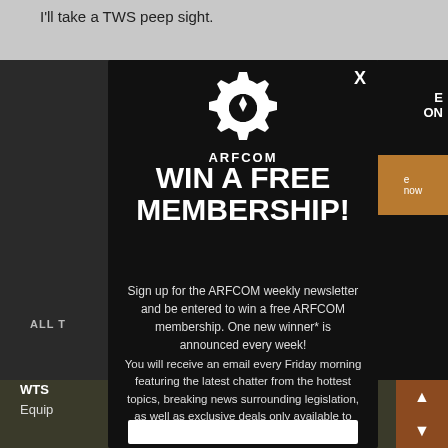I'll take a TWS peep sight.
[Figure (screenshot): ARFCOM website screenshot showing a modal popup overlay on a dark background page with partial navigation elements visible]
WIN A FREE MEMBERSHIP!
Sign up for the ARFCOM weekly newsletter and be entered to win a free ARFCOM membership. One new winner* is announced every week!
You will receive an email every Friday morning featuring the latest chatter from the hottest topics, breaking news surrounding legislation, as well as exclusive deals only available to ARFCOM email subscribers.